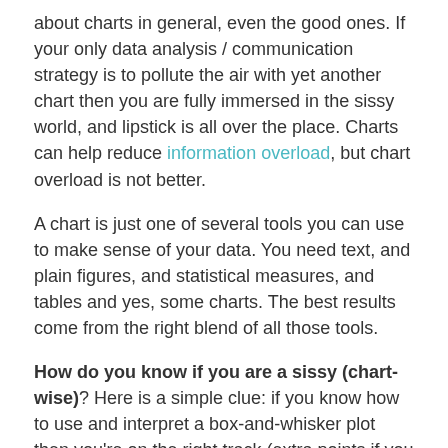about charts in general, even the good ones. If your only data analysis / communication strategy is to pollute the air with yet another chart then you are fully immersed in the sissy world, and lipstick is all over the place. Charts can help reduce information overload, but chart overload is not better.
A chart is just one of several tools you can use to make sense of your data. You need text, and plain figures, and statistical measures, and tables and yes, some charts. The best results come from the right blend of all those tools.
How do you know if you are a sissy (chart-wise)? Here is a simple clue: if you know how to use and interpret a box-and-whisker plot then you're on the right track (extra points if you can do it in Excel). If not, do yourself a favor and find a good entry-level statistics manual.